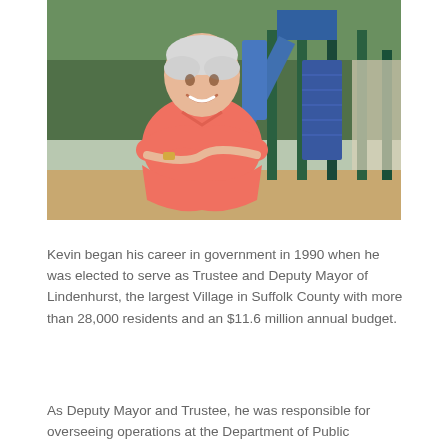[Figure (photo): Man in salmon/coral polo shirt with arms crossed, standing in front of a playground with blue and green equipment, smiling at the camera. He has white/silver hair.]
Kevin began his career in government in 1990 when he was elected to serve as Trustee and Deputy Mayor of Lindenhurst, the largest Village in Suffolk County with more than 28,000 residents and an $11.6 million annual budget.
As Deputy Mayor and Trustee, he was responsible for overseeing operations at the Department of Public